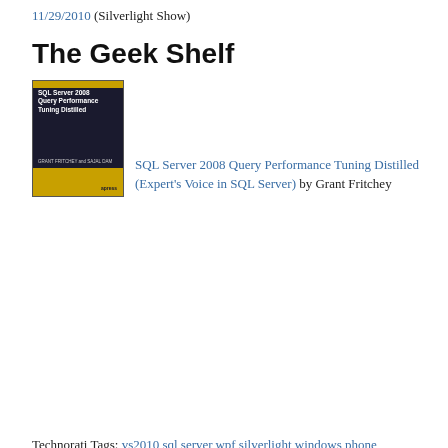11/29/2010 (Silverlight Show)
The Geek Shelf
[Figure (illustration): Book cover for SQL Server 2008 Query Performance Tuning Distilled, dark cover with gold accent bar]
SQL Server 2008 Query Performance Tuning Distilled (Expert's Voice in SQL Server) by Grant Fritchey
Technorati Tags: vs2010,sql server,wpf,silverlight,windows phone 7,f#,MEF,jquery,ajax,asp.net,powershell,sharepoint,windows home server
Posted in Daily Links, Development | Tagged ajax, asp.net, f#, jquery, MEF, powershell, sharepoint, silverlight, sql server, vs2010, windows home server, windows phone 7, wpf
Dew Drop – November 29, 2010